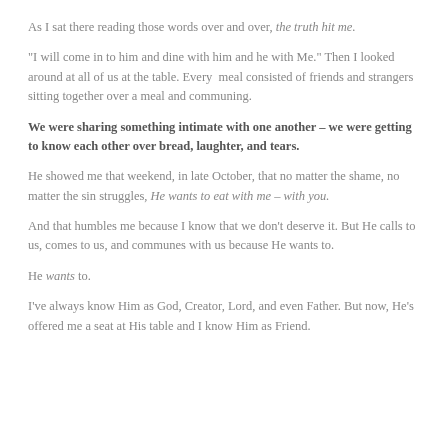As I sat there reading those words over and over, the truth hit me.
“I will come in to him and dine with him and he with Me.” Then I looked around at all of us at the table. Every meal consisted of friends and strangers sitting together over a meal and communing.
We were sharing something intimate with one another – we were getting to know each other over bread, laughter, and tears.
He showed me that weekend, in late October, that no matter the shame, no matter the sin struggles, He wants to eat with me – with you.
And that humbles me because I know that we don’t deserve it. But He calls to us, comes to us, and communes with us because He wants to.
He wants to.
I’ve always know Him as God, Creator, Lord, and even Father. But now, He’s offered me a seat at His table and I know Him as Friend.